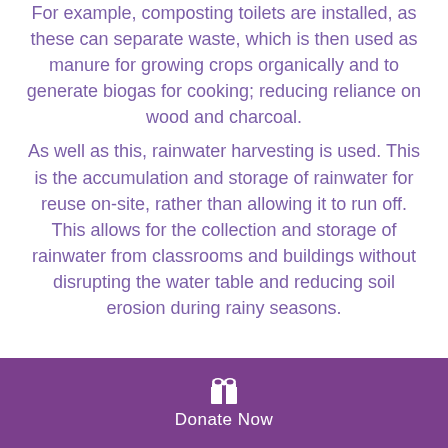For example, composting toilets are installed, as these can separate waste, which is then used as manure for growing crops organically and to generate biogas for cooking; reducing reliance on wood and charcoal. As well as this, rainwater harvesting is used. This is the accumulation and storage of rainwater for reuse on-site, rather than allowing it to run off. This allows for the collection and storage of rainwater from classrooms and buildings without disrupting the water table and reducing soil erosion during rainy seasons.
[Figure (other): Purple donate button bar with gift icon and 'Donate Now' text]